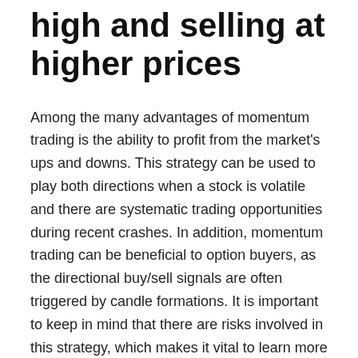high and selling at higher prices
Among the many advantages of momentum trading is the ability to profit from the market's ups and downs. This strategy can be used to play both directions when a stock is volatile and there are systematic trading opportunities during recent crashes. In addition, momentum trading can be beneficial to option buyers, as the directional buy/sell signals are often triggered by candle formations. It is important to keep in mind that there are risks involved in this strategy, which makes it vital to learn more about its pitfalls.
While momentum trading is not as well-known as other forms of trading, it has recently gained more popularity. Many online and mobile brokerages have made it easier